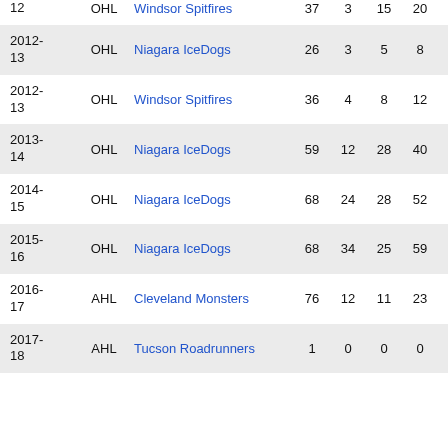| Season | League | Team | GP | G | A | Pts | PIM |
| --- | --- | --- | --- | --- | --- | --- | --- |
| 2011-12 | OHL | Windsor Spitfires | 37 | 3 | 15 | 20 | 59 |
| 2012-13 | OHL | Niagara IceDogs | 26 | 3 | 5 | 8 | 27 |
| 2012-13 | OHL | Windsor Spitfires | 36 | 4 | 8 | 12 | 38 |
| 2013-14 | OHL | Niagara IceDogs | 59 | 12 | 28 | 40 | 58 |
| 2014-15 | OHL | Niagara IceDogs | 68 | 24 | 28 | 52 | 41 |
| 2015-16 | OHL | Niagara IceDogs | 68 | 34 | 25 | 59 | 55 |
| 2016-17 | AHL | Cleveland Monsters | 76 | 12 | 11 | 23 | 69 |
| 2017-18 | AHL | Tucson Roadrunners | 1 | 0 | 0 | 0 | 0 |